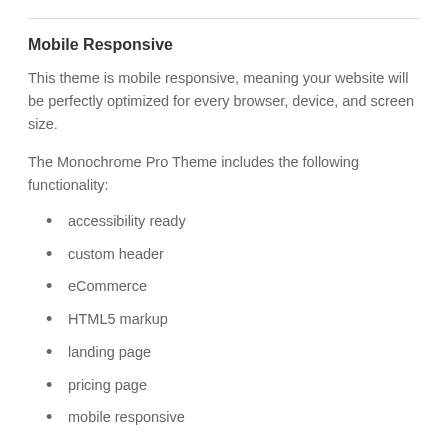Mobile Responsive
This theme is mobile responsive, meaning your website will be perfectly optimized for every browser, device, and screen size.
The Monochrome Pro Theme includes the following functionality:
accessibility ready
custom header
eCommerce
HTML5 markup
landing page
pricing page
mobile responsive